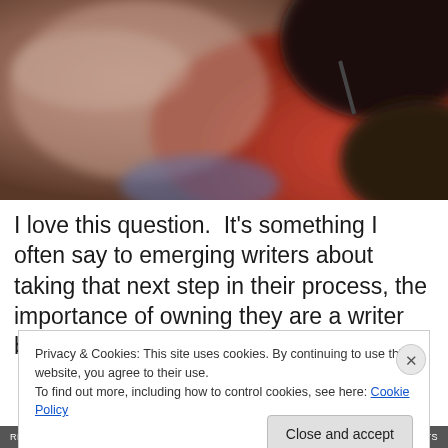[Figure (photo): Close-up blurry photo of a person's head/hair with a red garment and what appears to be a pen or stylus near their head]
I love this question.  It's something I often say to emerging writers about taking that next step in their process, the importance of owning they are a writer by voicing it – 'I am
Privacy & Cookies: This site uses cookies. By continuing to use this website, you agree to their use.
To find out more, including how to control cookies, see here: Cookie Policy
Close and accept